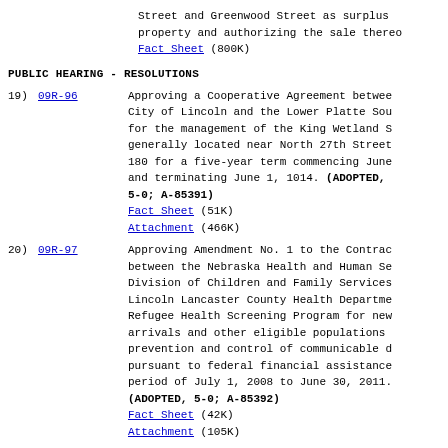Street and Greenwood Street as surplus property and authorizing the sale thereof. Fact Sheet (800K)
PUBLIC HEARING - RESOLUTIONS
19) 09R-96 Approving a Cooperative Agreement between the City of Lincoln and the Lower Platte South for the management of the King Wetland Sanctuary, generally located near North 27th Street and Highway 180 for a five-year term commencing June 1, 2009 and terminating June 1, 1014. (ADOPTED, 5-0; A-85391) Fact Sheet (51K) Attachment (466K)
20) 09R-97 Approving Amendment No. 1 to the Contract between the Nebraska Health and Human Services, Division of Children and Family Services, and the Lincoln Lancaster County Health Department for the Refugee Health Screening Program for newly arrived refugees and other eligible populations for prevention and control of communicable disease, pursuant to federal financial assistance for the period of July 1, 2008 to June 30, 2011. (ADOPTED, 5-0; A-85392) Fact Sheet (42K) Attachment (105K)